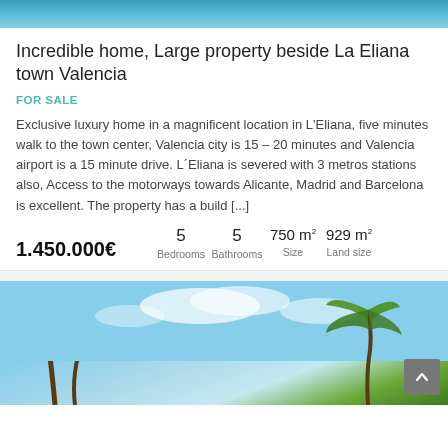[Figure (photo): Blue water/pool photo strip at top of page]
Incredible home, Large property beside La Eliana town Valencia
FOR SALE
Exclusive luxury home in a magnificent location in L'Eliana, five minutes walk to the town center, Valencia city is 15 – 20 minutes and Valencia airport is a 15 minute drive. L´Eliana is severed with 3 metros stations also, Access to the motorways towards Alicante, Madrid and Barcelona is excellent. The property has a build [...]
1.450.000€  5 Bedrooms  5 Bathrooms  750 m² Size  929 m² Land size
[Figure (photo): Exterior photo of property with palm trees and blue sky]